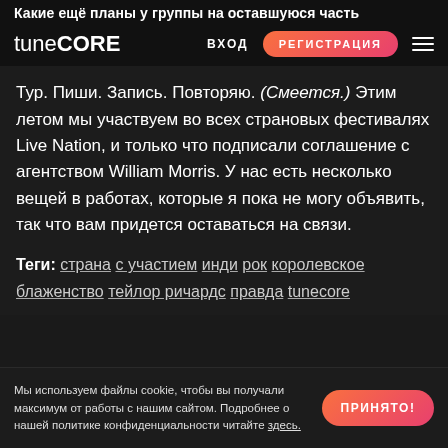Какие ещё планы у группы на оставшуюся часть
tune CORE  ВХОД  РЕГИСТРАЦИЯ
Тур. Пиши. Запись. Повторяю. (Смеется.) Этим летом мы участвуем во всех страновых фестивалях Live Nation, и только что подписали соглашение с агентством William Morris. У нас есть несколько вещей в работах, которые я пока не могу объявить, так что вам придется оставаться на связи.
Теги: страна с участием инди рок королевское блаженство тейлор ричардс правда tunecore
Мы используем файлы cookie, чтобы вы получали максимум от работы с нашим сайтом. Подробнее о нашей политике конфиденциальности читайте здесь.  ПРИНЯТО!